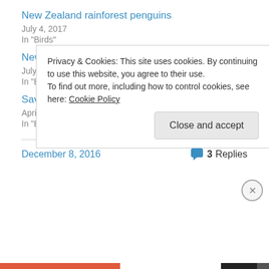New Zealand rainforest penguins
July 4, 2017
In "Birds"
New Zealand penguins
July 3, 2017
In "Birds"
Saving African penguins
April 10, 2017
In "Birds"
December 8, 2016
3 Replies
Privacy & Cookies: This site uses cookies. By continuing to use this website, you agree to their use.
To find out more, including how to control cookies, see here: Cookie Policy
Close and accept